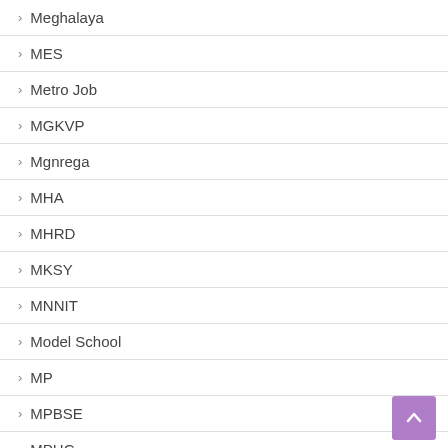Meghalaya
MES
Metro Job
MGKVP
Mgnrega
MHA
MHRD
MKSY
MNNIT
Model School
MP
MPBSE
MPHC
MPPGCL
MPPSC